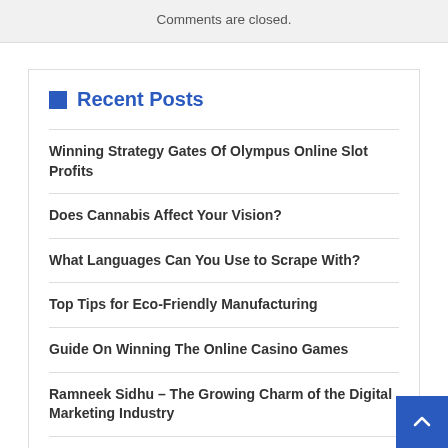Comments are closed.
Recent Posts
Winning Strategy Gates Of Olympus Online Slot Profits
Does Cannabis Affect Your Vision?
What Languages Can You Use to Scrape With?
Top Tips for Eco-Friendly Manufacturing
Guide On Winning The Online Casino Games
Ramneek Sidhu – The Growing Charm of the Digital Marketing Industry
Which motor is best for a drone? What is the rpm of a drone